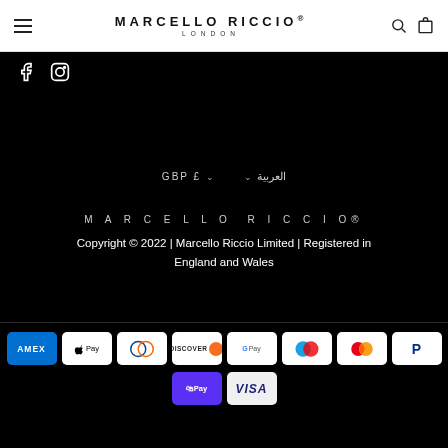MARCELLO RICCIO LONDON
[Figure (logo): Marcello Riccio London brand logo with navigation icons (hamburger menu, search, bag)]
[Figure (illustration): Social media icons: Facebook and Instagram on black background]
GBP £  العربية
MARCELLO RICCIO®
Copyright © 2022 | Marcello Riccio Limited | Registered in England and Wales
[Figure (infographic): Payment method icons: American Express, Apple Pay, Diners Club, Discover, Google Pay, Maestro, Mastercard, PayPal, Shop Pay, Visa]